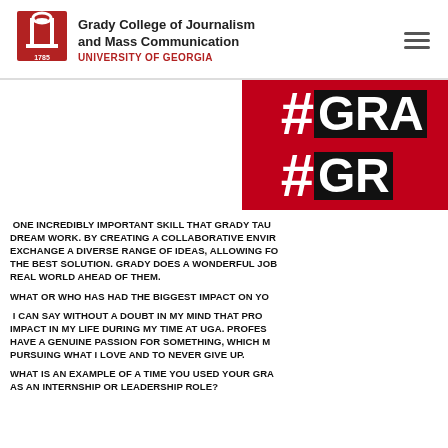Grady College of Journalism and Mass Communication
UNIVERSITY OF GEORGIA
[Figure (photo): Red background image with hashtag symbol and partial text '#GRA #GR' in large bold white/black letters on a red background, partially visible at right side of page.]
ONE INCREDIBLY IMPORTANT SKILL THAT GRADY TAU... DREAM WORK. BY CREATING A COLLABORATIVE ENVIR... EXCHANGE A DIVERSE RANGE OF IDEAS, ALLOWING FO... THE BEST SOLUTION. GRADY DOES A WONDERFUL JOB... REAL WORLD AHEAD OF THEM.
WHAT OR WHO HAS HAD THE BIGGEST IMPACT ON YO...
I CAN SAY WITHOUT A DOUBT IN MY MIND THAT PRO... IMPACT IN MY LIFE DURING MY TIME AT UGA. PROFES... HAVE A GENUINE PASSION FOR SOMETHING, WHICH M... PURSUING WHAT I LOVE AND TO NEVER GIVE UP.
WHAT IS AN EXAMPLE OF A TIME YOU USED YOUR GRA... AS AN INTERNSHIP OR LEADERSHIP ROLE?